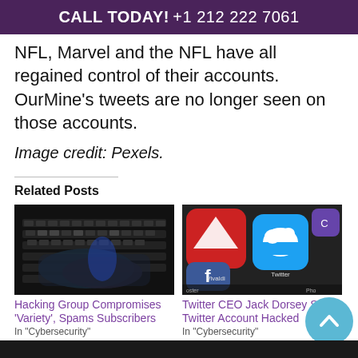CALL TODAY! +1 212 222 7061
NFL, Marvel and the NFL have all regained control of their accounts. OurMine's tweets are no longer seen on those accounts.
Image credit: Pexels.
Related Posts
[Figure (photo): Hands typing on a dark keyboard]
Hacking Group Compromises 'Variety', Spams Subscribers
In "Cybersecurity"
[Figure (photo): Smartphone screen showing app icons including Vivaldi, Twitter, Facebook]
Twitter CEO Jack Dorsey Sees Twitter Account Hacked
In "Cybersecurity"